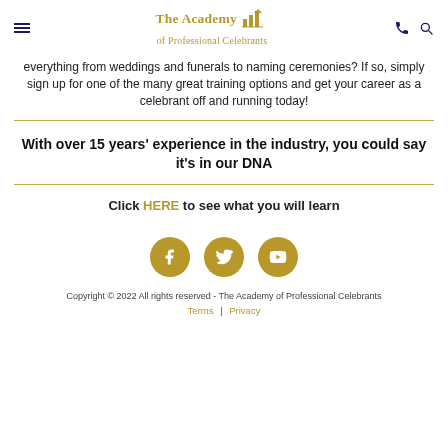The Academy of Professional Celebrants
everything from weddings and funerals to naming ceremonies? If so, simply sign up for one of the many great training options and get your career as a celebrant off and running today!
With over 15 years' experience in the industry, you could say it's in our DNA
Click HERE to see what you will learn
[Figure (illustration): Three gold circular social media icons: Facebook, Twitter, YouTube]
Copyright © 2022 All rights reserved - The Academy of Professional Celebrants
Terms | Privacy